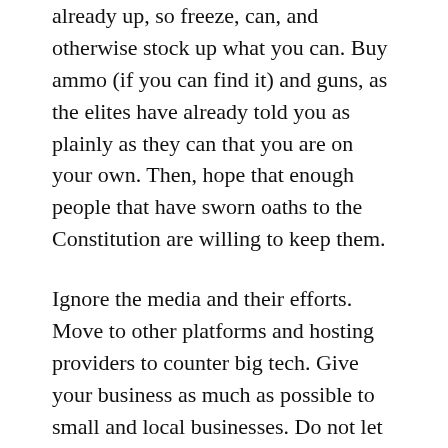already up, so freeze, can, and otherwise stock up what you can. Buy ammo (if you can find it) and guns, as the elites have already told you as plainly as they can that you are on your own. Then, hope that enough people that have sworn oaths to the Constitution are willing to keep them.
Ignore the media and their efforts. Move to other platforms and hosting providers to counter big tech. Give your business as much as possible to small and local businesses. Do not let the massive propaganda effort get to you. Also, make a note of the Quislings in the event we ever do have a free and fair election again. Start working against them now in any way you